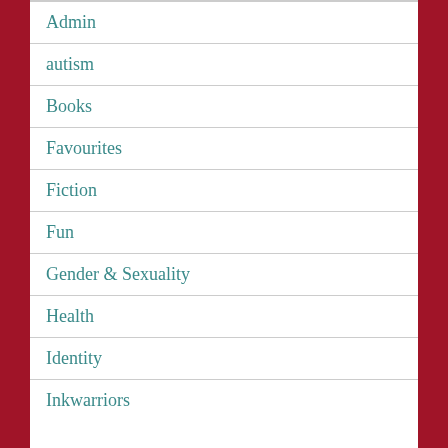Admin
autism
Books
Favourites
Fiction
Fun
Gender & Sexuality
Health
Identity
Inkwarriors